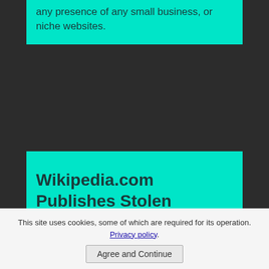any presence of any small business, or niche websites.
Wikipedia.com Publishes Stolen Content in Arabic!
Wikipedia.com publishes stolen content in Arabic and it doesn't notice it because they don't know Arabic. The thieves know this fact. Wikipedia...
This site uses cookies, some of which are required for its operation. Privacy policy
Agree and Continue